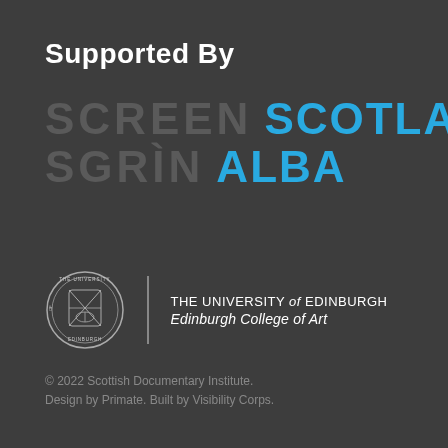Supported By
[Figure (logo): Screen Scotland / Sgrìn Alba logo with grey 'SCREEN' / 'SGRÌN' text and cyan 'SCOTLAND' / 'ALBA' text]
[Figure (logo): The University of Edinburgh / Edinburgh College of Art logo with circular crest and text]
© 2022 Scottish Documentary Institute. Design by Primate. Built by Visibility Corps.